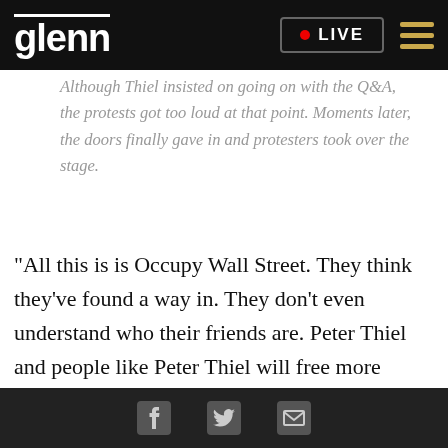glenn · LIVE
Although Thiel insisted on going on with the Q&A, the protests got too loud at that point. Moments later, the doors finally gave in and protesters took over the stage.
"All this is is Occupy Wall Street. They think they've found a way in. They don't even understand who their friends are. Peter Thiel and people like Peter Thiel will free more people than ever before. They -- people don't understand. If you fall into this communism crap right now, you're going to set us back 500 years. And you may -- you may usher in at
Facebook Twitter Email